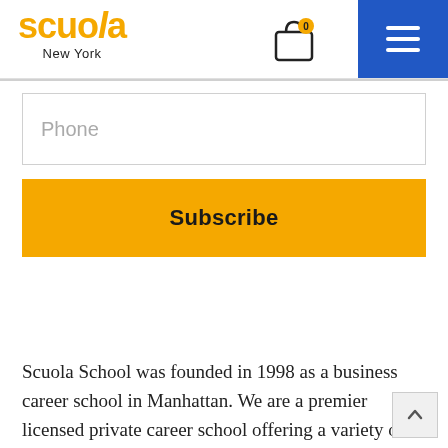scuola New York — navigation header with cart (0) and hamburger menu
Phone
Subscribe
Scuola School was founded in 1998 as a business career school in Manhattan. We are a premier licensed private career school offering a variety of